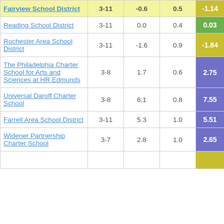| School/District | Grades | Col3 | Col4 | Score |
| --- | --- | --- | --- | --- |
| Fairview School District | 3-11 | -0.6 | 0.5 | -1.14 |
| Reading School District | 3-11 | 0.0 | 0.4 | 0.03 |
| Rochester Area School District | 3-11 | -1.6 | 0.9 | -1.84 |
| The Philadelphia Charter School for Arts and Sciences at HR Edmunds | 3-8 | 1.7 | 0.6 | 2.75 |
| Universal Daroff Charter School | 3-8 | 6.1 | 0.8 | 7.55 |
| Farrell Area School District | 3-11 | 5.3 | 1.0 | 5.51 |
| Widener Partnership Charter School | 3-7 | 2.8 | 1.0 | 2.65 |